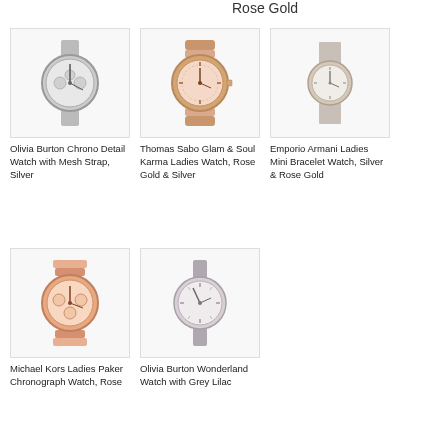Rose Gold
[Figure (photo): Olivia Burton Chrono Detail Watch with Mesh Strap, Silver]
Olivia Burton Chrono Detail Watch with Mesh Strap, Silver
[Figure (photo): Thomas Sabo Glam & Soul Karma Ladies Watch, Rose Gold & Silver]
Thomas Sabo Glam & Soul Karma Ladies Watch, Rose Gold & Silver
[Figure (photo): Emporio Armani Ladies Mini Bracelet Watch, Silver & Rose Gold]
Emporio Armani Ladies Mini Bracelet Watch, Silver & Rose Gold
[Figure (photo): Michael Kors Ladies Paker Chronograph Watch, Rose...]
Michael Kors Ladies Paker Chronograph Watch, Rose
[Figure (photo): Olivia Burton Wonderland Watch with Grey Lilac]
Olivia Burton Wonderland Watch with Grey Lilac